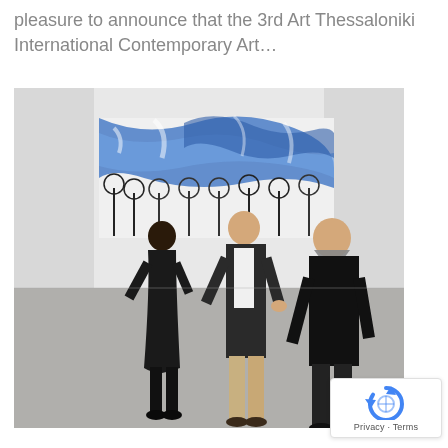pleasure to announce that the 3rd Art Thessaloniki International Contemporary Art…
[Figure (photo): Three people standing in an art gallery with a large blue and white painting on the wall behind them. A woman in black is on the left, a tall man in a blazer and khaki pants is in the center, and a bearded man in a black sweatshirt is on the right.]
Privacy · Terms